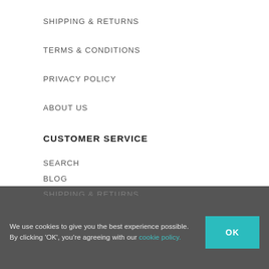SHIPPING & RETURNS
TERMS & CONDITIONS
PRIVACY POLICY
ABOUT US
CUSTOMER SERVICE
SEARCH
BLOG
NEW IN
We use cookies to give you the best experience possible. By clicking 'OK', you're agreeing with our cookie policy.